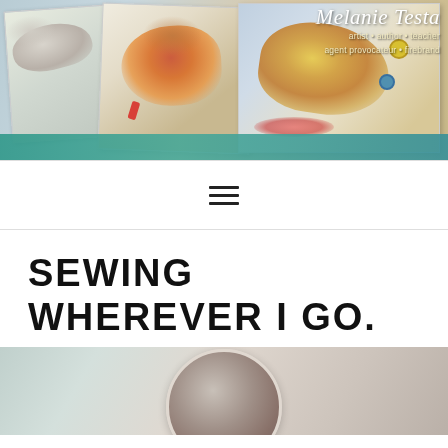[Figure (photo): Website header banner for Melanie Testa showing multiple painted bird artworks overlapping on a surface with a teal ribbon at the bottom. Branding overlay in top-right corner reads 'Melanie Testa' in italic script with tagline 'artist • author • teacher / agent provocateur • firebrand']
Melanie Testa
artist • author • teacher
agent provocateur • firebrand
[Figure (other): Hamburger menu icon — three horizontal black lines centered in the navigation bar]
SEWING WHEREVER I GO.
[Figure (photo): Partial photo at bottom of page showing a blurred light-toned background with a partial circular object (possibly a hoop or bowl) visible at the bottom center]